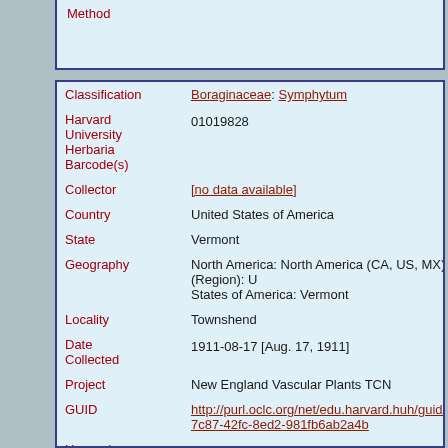Method
| Field | Value |
| --- | --- |
| Classification | Boraginaceae: Symphytum |
| Harvard University Herbaria Barcode(s) | 01019828 |
| Collector | [no data available] |
| Country | United States of America |
| State | Vermont |
| Geography | North America: North America (CA, US, MX) (Region): United States of America: Vermont |
| Locality | Townshend |
| Date Collected | 1911-08-17 [Aug. 17, 1911] |
| Project | New England Vascular Plants TCN |
| GUID | http://purl.oclc.org/net/edu.harvard.huh/guid/uuid/ae7-7c87-42fc-8ed2-981fb6ab2a4b |
| Harvard University Herbaria | 01019828 |